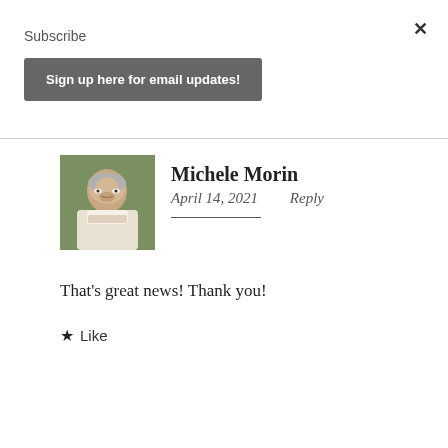×
Subscribe
Sign up here for email updates!
Michele Morin
April 14, 2021   Reply
That's great news! Thank you!
★ Like